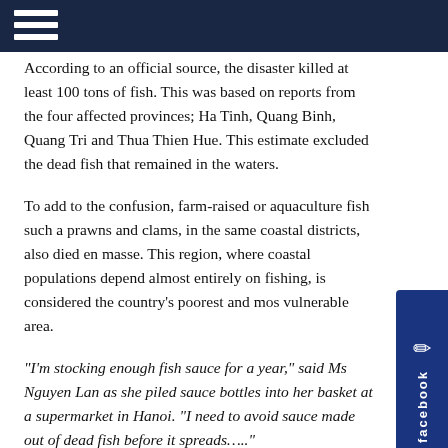According to an official source, the disaster killed at least 100 tons of fish. This was based on reports from the four affected provinces; Ha Tinh, Quang Binh, Quang Tri and Thua Thien Hue. This estimate excluded the dead fish that remained in the waters.
To add to the confusion, farm-raised or aquaculture fish such as prawns and clams, in the same coastal districts, also died en masse. This region, where coastal populations depend almost entirely on fishing, is considered the country's poorest and most vulnerable area.
"I'm stocking enough fish sauce for a year," said Ms Nguyen Lan as she piled sauce bottles into her basket at a supermarket in Hanoi. "I need to avoid sauce made out of dead fish before it spreads…..."
On 1 May thousands of people of different ages and professions took to the streets of Hanoi and Ho Chi Minh City, to protest against